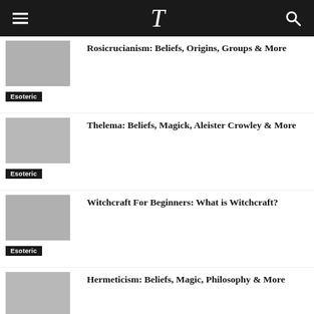T (logo)
Rosicrucianism: Beliefs, Origins, Groups & More
Esoteric
Thelema: Beliefs, Magick, Aleister Crowley & More
Esoteric
Witchcraft For Beginners: What is Witchcraft?
Esoteric
Hermeticism: Beliefs, Magic, Philosophy & More
Esoteric